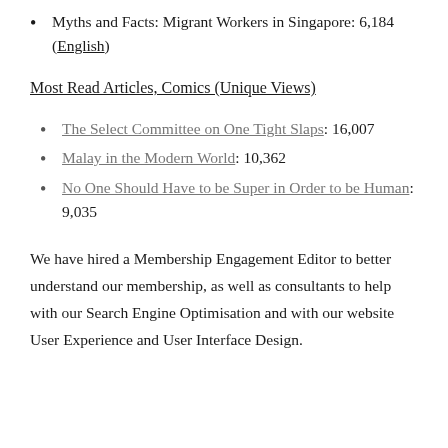Myths and Facts: Migrant Workers in Singapore: 6,184 (English)
Most Read Articles, Comics (Unique Views)
The Select Committee on One Tight Slaps: 16,007
Malay in the Modern World: 10,362
No One Should Have to be Super in Order to be Human: 9,035
We have hired a Membership Engagement Editor to better understand our membership, as well as consultants to help with our Search Engine Optimisation and with our website User Experience and User Interface Design.